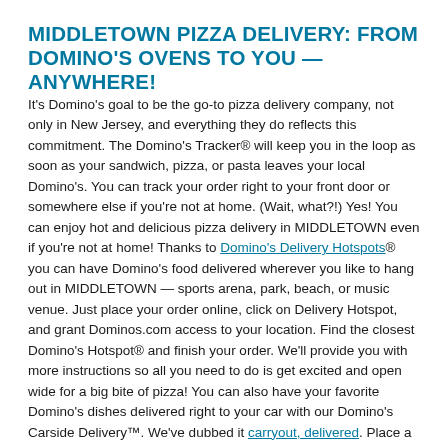MIDDLETOWN PIZZA DELIVERY: FROM DOMINO'S OVENS TO YOU — ANYWHERE!
It's Domino's goal to be the go-to pizza delivery company, not only in New Jersey, and everything they do reflects this commitment. The Domino's Tracker® will keep you in the loop as soon as your sandwich, pizza, or pasta leaves your local Domino's. You can track your order right to your front door or somewhere else if you're not at home. (Wait, what?!) Yes! You can enjoy hot and delicious pizza delivery in MIDDLETOWN even if you're not at home! Thanks to Domino's Delivery Hotspots® you can have Domino's food delivered wherever you like to hang out in MIDDLETOWN — sports arena, park, beach, or music venue. Just place your order online, click on Delivery Hotspot, and grant Dominos.com access to your location. Find the closest Domino's Hotspot® and finish your order. We'll provide you with more instructions so all you need to do is get excited and open wide for a big bite of pizza! You can also have your favorite Domino's dishes delivered right to your car with our Domino's Carside Delivery™. We've dubbed it carryout, delivered. Place a normal carryout order and point your dash in Domino's direction. When